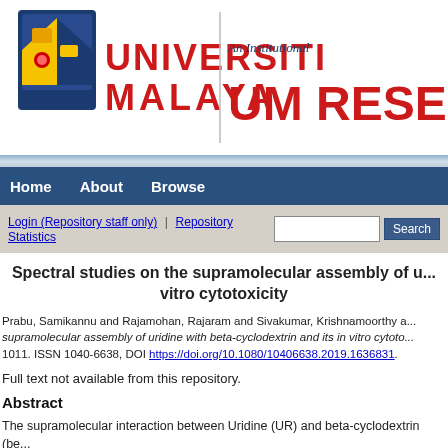[Figure (logo): Universiti Malaya logo with crest and text, plus UM Research Repository banner]
Home | About | Browse
Login (Repository staff only) | Repository Statistics | Search
Spectral studies on the supramolecular assembly of u... vitro cytotoxicity
Prabu, Samikannu and Rajamohan, Rajaram and Sivakumar, Krishnamoorthy a... supramolecular assembly of uridine with beta-cyclodextrin and its in vitro cytoto... 1011. ISSN 1040-6638, DOI https://doi.org/10.1080/10406638.2019.1636831.
Full text not available from this repository.
Abstract
The supramolecular interaction between Uridine (UR) and beta-cyclodextrin (be... state. Noncovalent interaction between UR and beta-CD in aqueous medium wa... emission, and time-resolved fluorescence spectroscopy. The solid inclusion...